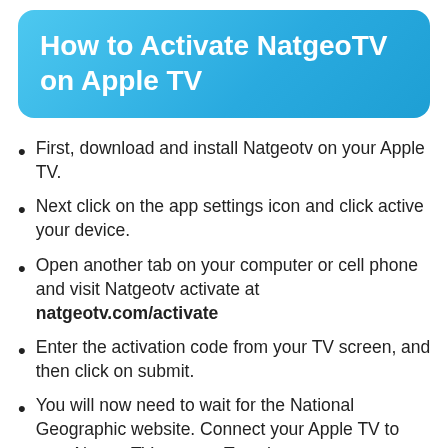How to Activate NatgeoTV on Apple TV
First, download and install Natgeotv on your Apple TV.
Next click on the app settings icon and click active your device.
Open another tab on your computer or cell phone and visit Natgeotv activate at natgeotv.com/activate
Enter the activation code from your TV screen, and then click on submit.
You will now need to wait for the National Geographic website. Connect your Apple TV to your NatgeoTV account Together.